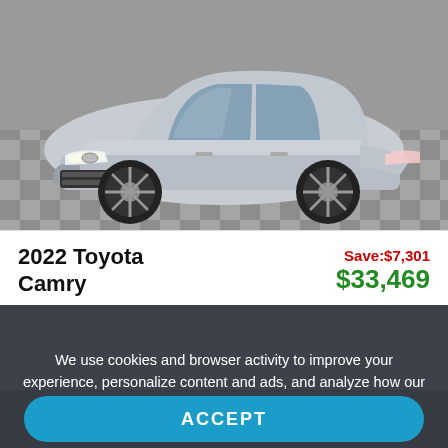[Figure (photo): Silver 2022 Toyota Camry photographed in a showroom with checkered tile floor, front three-quarter view]
2022 Toyota Camry
Save:$7,301 $33,469
We use cookies and browser activity to improve your experience, personalize content and ads, and analyze how our sites are used. For more information, view our Privacy Policy.
ACCEPT